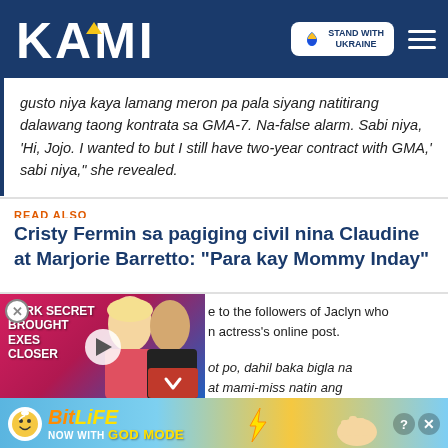KAMI — Stand with Ukraine
gusto niya kaya lamang meron pa pala siyang natitirang dalawang taong kontrata sa GMA-7. Na-false alarm. Sabi niya, 'Hi, Jojo. I wanted to but I still have two-year contract with GMA,' sabi niya," she revealed.
READ ALSO
Cristy Fermin sa pagiging civil nina Claudine at Marjorie Barretto: "Para kay Mommy Inday"
e to the followers of Jaclyn who n actress's online post.
ot po, dahil baka bigla na at mami-miss natin ang ituloy ang kanyang
[Figure (advertisement): Video advertisement with 'DARK SECRET BROUGHT EXES CLOSER' text overlay and celebrities photo, with play button]
[Figure (advertisement): BitLife banner ad: NOW WITH GOD MODE]